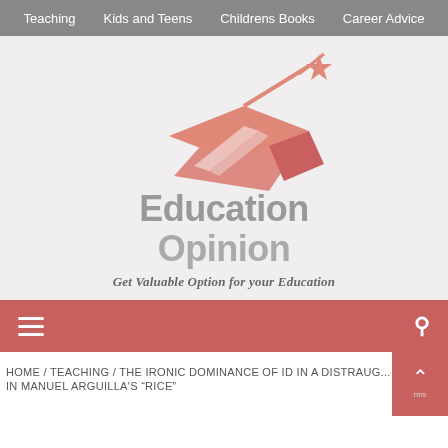Teaching  Kids and Teens  Childrens Books  Career Advice
[Figure (logo): Education Opinion logo with graduation cap and shooting star graphic in salmon/coral color, with text 'Education Opinion' in large gray letters and tagline 'Get Valuable Option for your Education' in italic serif font]
≡  🔍
HOME / TEACHING / THE IRONIC DOMINANCE OF ID IN A DISTRAUGHT … IN MANUEL ARGUILLA'S "RICE"